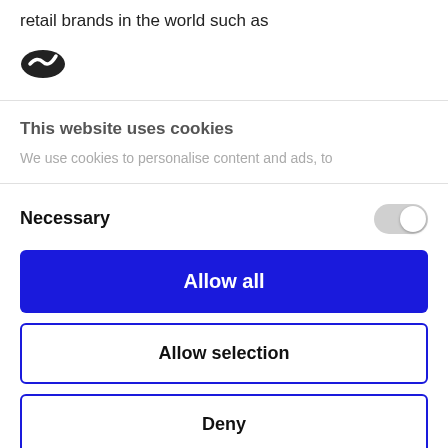retail brands in the world such as
[Figure (logo): Dark oval logo with white checkmark/swoosh icon]
This website uses cookies
We use cookies to personalise content and ads, to
Necessary
Allow all
Allow selection
Deny
Powered by Cookiebot by Usercentrics